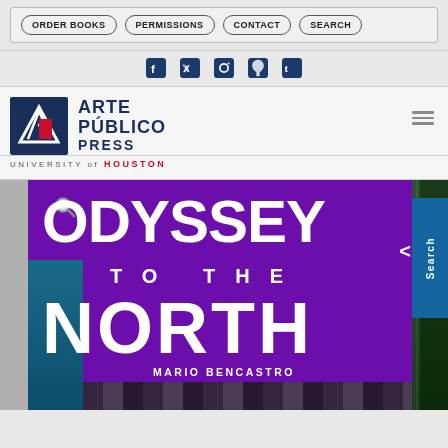ORDER BOOKS | PERMISSIONS | CONTACT | SEARCH
[Figure (logo): Social media icons: Facebook, Twitter, Instagram, Pinterest, Tumblr]
[Figure (logo): Arte Público Press logo with University of Houston text]
[Figure (photo): Book cover of 'Odyssey to the North' by Mario Bencastro. Purple background with large white bold text reading ODYSSEY TO THE NORTH. Author name MARIO BENCASTRO at bottom. Small magnifier icon near O. Blue decorative elements at bottom. Search tab on right side.]